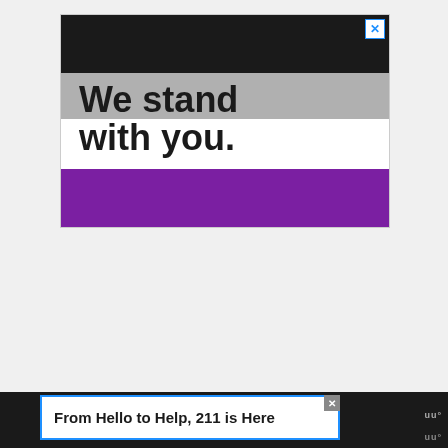[Figure (illustration): Advertisement banner showing asexuality pride flag colors (black, gray, white, purple stripes) with bold text 'We stand with you.' overlaid on the gray and white sections. A close button (X) appears in the top right corner of the ad.]
From Hello to Help, 211 is Here